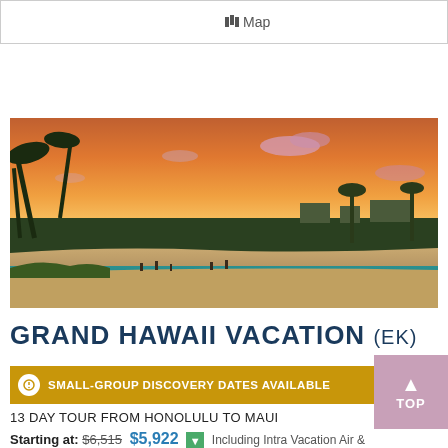Map
[Figure (photo): Hawaii beach sunset scene with palm trees, golden/orange sky, sandy beach with people, and turquoise water in the foreground]
GRAND HAWAII VACATION (EK)
SMALL-GROUP DISCOVERY DATES AVAILABLE
TOP
13 DAY TOUR FROM HONOLULU TO MAUI
Starting at: $6,515 $5,922 Including Intra Vacation Air &